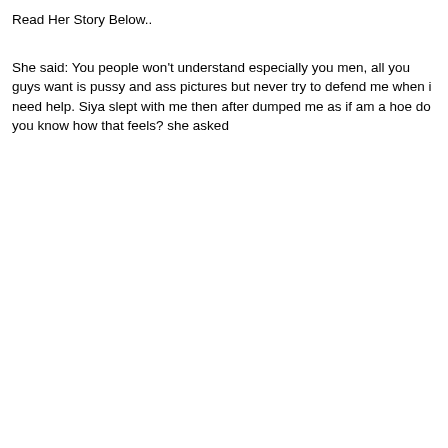Read Her Story Below..
She said: You people won't understand especially you men, all you guys want is pussy and ass pictures but never try to defend me when i need help. Siya slept with me then after dumped me as if am a hoe do you know how that feels? she asked